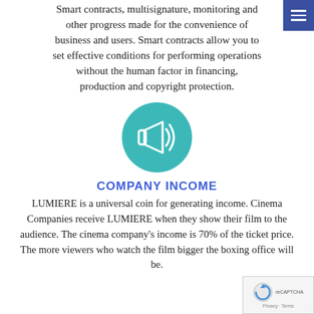Smart contracts, multisignature, monitoring and other progress made for the convenience of business and users. Smart contracts allow you to set effective conditions for performing operations without the human factor in financing, production and copyright protection.
[Figure (illustration): Teal circular icon with a megaphone/announcement symbol and sound wave lines]
COMPANY INCOME
LUMIERE is a universal coin for generating income. Cinema Companies receive LUMIERE when they show their film to the audience. The cinema company's income is 70% of the ticket price. The more viewers who watch the film, bigger the boxing office will be.